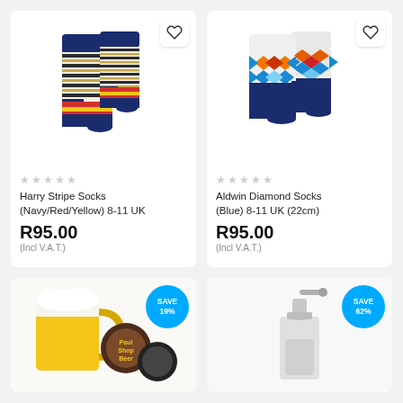[Figure (photo): Harry Stripe Socks (Navy/Red/Yellow) product photo on white background]
★★★★★
Harry Stripe Socks (Navy/Red/Yellow) 8-11 UK
R95.00
(Incl V.A.T.)
[Figure (photo): Aldwin Diamond Socks (Blue) product photo on white background]
★★★★★
Aldwin Diamond Socks (Blue) 8-11 UK (22cm)
R95.00
(Incl V.A.T.)
[Figure (photo): Beer mugs and beer brand coasters product photo, partially visible. SAVE 19% badge.]
[Figure (photo): White pump bottle product photo, partially visible. SAVE 62% badge.]